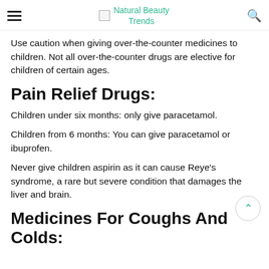Natural Beauty Trends
Use caution when giving over-the-counter medicines to children. Not all over-the-counter drugs are elective for children of certain ages.
Pain Relief Drugs:
Children under six months: only give paracetamol.
Children from 6 months: You can give paracetamol or ibuprofen.
Never give children aspirin as it can cause Reye's syndrome, a rare but severe condition that damages the liver and brain.
Medicines For Coughs And Colds: